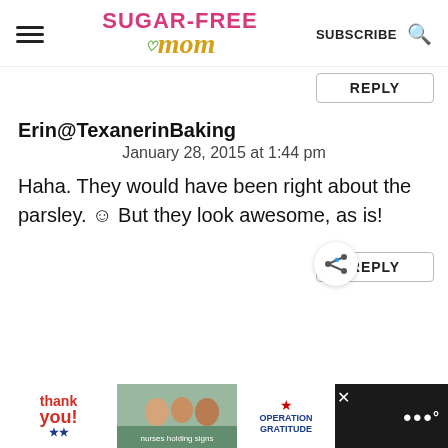Sugar-Free Mom | SUBSCRIBE
Erin@TexanerinBaking
January 28, 2015 at 1:44 pm
Haha. They would have been right about the parsley. ☺ But they look awesome, as is!
[Figure (screenshot): REPLY button at bottom right]
[Figure (screenshot): Advertisement bar at page bottom: Thank you image with Operation Gratitude branding and nurses photo]